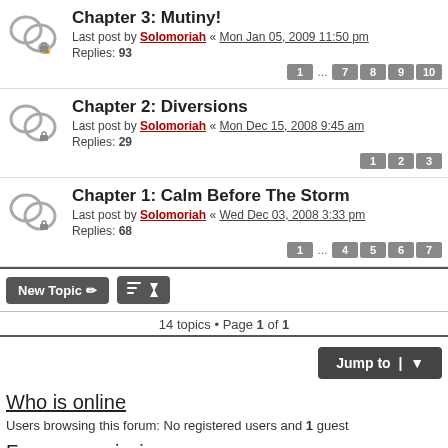Chapter 3: Mutiny! Last post by Solomoriah « Mon Jan 05, 2009 11:50 pm Replies: 93 [pages: 1 ... 7 8 9 10]
Chapter 2: Diversions Last post by Solomoriah « Mon Dec 15, 2008 9:45 am Replies: 29 [pages: 1 2 3]
Chapter 1: Calm Before The Storm Last post by Solomoriah « Wed Dec 03, 2008 3:33 pm Replies: 68 [pages: 1 ... 4 5 6 7]
14 topics • Page 1 of 1
Jump to
Who is online
Users browsing this forum: No registered users and 1 guest
Forum permissions
You cannot post new topics in this forum
You cannot reply to topics in this forum